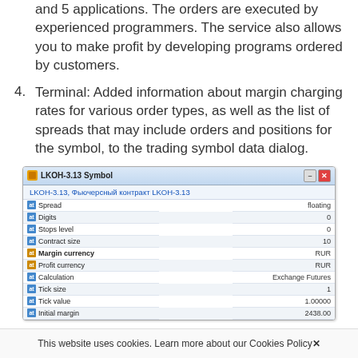and 5 applications. The orders are executed by experienced programmers. The service also allows you to make profit by developing programs ordered by customers.
4. Terminal: Added information about margin charging rates for various order types, as well as the list of spreads that may include orders and positions for the symbol, to the trading symbol data dialog.
[Figure (screenshot): LKOH-3.13 Symbol dialog window showing trading symbol data including Spread (floating), Digits (0), Stops level (0), Contract size (10), Margin currency (RUR), Profit currency (RUR), Calculation (Exchange Futures), Tick size (1), Tick value (1.00000), Initial margin (2438.00)]
This website uses cookies. Learn more about our Cookies Policy ✕